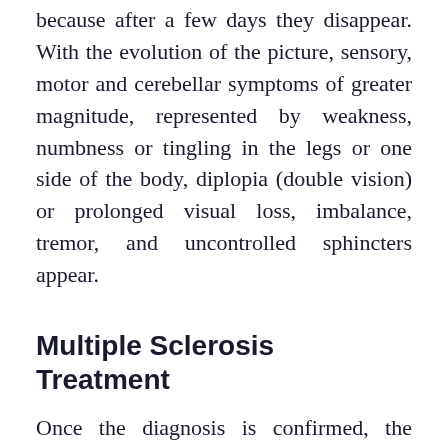because after a few days they disappear. With the evolution of the picture, sensory, motor and cerebellar symptoms of greater magnitude, represented by weakness, numbness or tingling in the legs or one side of the body, diplopia (double vision) or prolonged visual loss, imbalance, tremor, and uncontrolled sphincters appear.
Multiple Sclerosis Treatment
Once the diagnosis is confirmed, the treatment has two main objectives to shorten the acute phase and try to increase the interval between one outbreak and another. In the first case, corticosteroids are useful drugs to reduce the intensity of outbreaks. In the second,